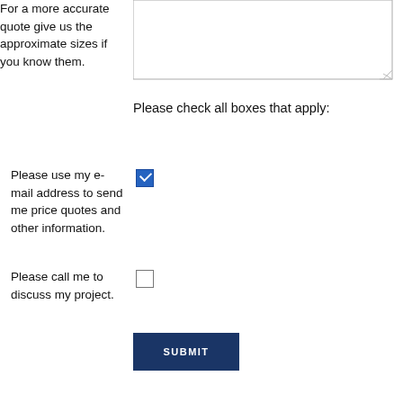For a more accurate quote give us the approximate sizes if you know them.
Please check all boxes that apply:
Please use my e-mail address to send me price quotes and other information.
Please call me to discuss my project.
SUBMIT